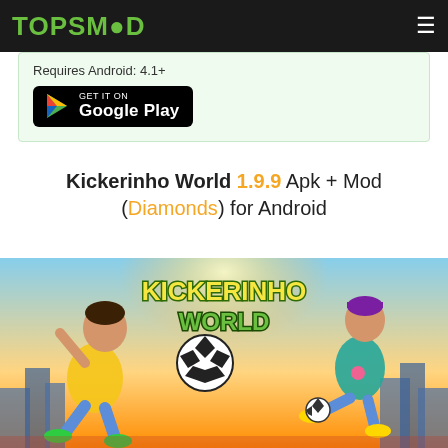TOPSMOD
Requires Android: 4.1+
[Figure (logo): Get it on Google Play button]
Kickerinho World 1.9.9 Apk + Mod (Diamonds) for Android
[Figure (illustration): Kickerinho World game promotional image showing two animated characters kicking soccer balls with the KICKERINHO WORLD logo in the center against a city skyline background]